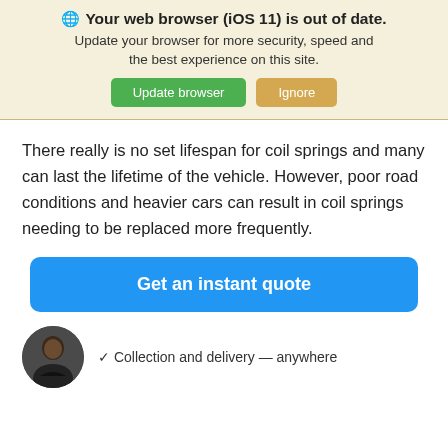🌐 Your web browser (iOS 11) is out of date. Update your browser for more security, speed and the best experience on this site.
Update browser | Ignore
There really is no set lifespan for coil springs and many can last the lifetime of the vehicle. However, poor road conditions and heavier cars can result in coil springs needing to be replaced more frequently.
Get an instant quote
✓ Collection and delivery — anywhere